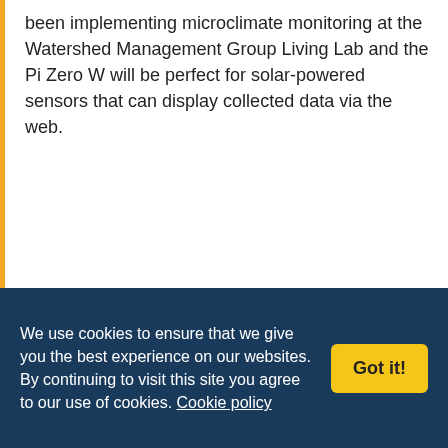been implementing microclimate monitoring at the Watershed Management Group Living Lab and the Pi Zero W will be perfect for solar-powered sensors that can display collected data via the web.
Romilly Cocking
2nd March 2017, 3:40 pm

Pions, you dun it again :)

Love the zero w. It will be running a smart
We use cookies to ensure that we give you the best experience on our websites. By continuing to visit this site you agree to our use of cookies. Cookie policy